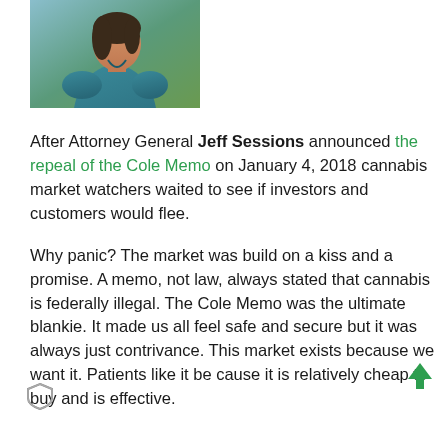[Figure (photo): Portrait photo of a woman with dark hair wearing a teal/blue top, photographed outdoors]
After Attorney General Jeff Sessions announced the repeal of the Cole Memo on January 4, 2018 cannabis market watchers waited to see if investors and customers would flee.
Why panic? The market was build on a kiss and a promise. A memo, not law, always stated that cannabis is federally illegal. The Cole Memo was the ultimate blankie. It made us all feel safe and secure but it was always just contrivance. This market exists because we want it. Patients like it be cause it is relatively cheap to buy and is effective.